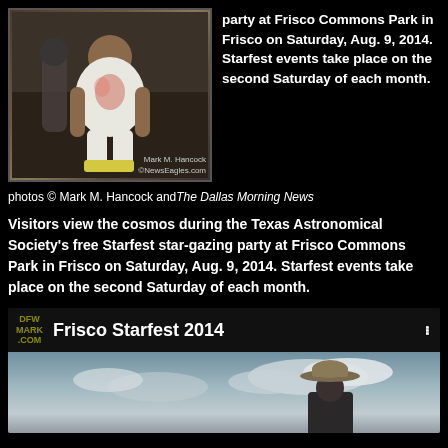[Figure (photo): Person kneeling near telescope equipment at outdoor star-gazing event. Photo credit: Mark M. Hancock / ©NewsEagles.com]
party at Frisco Commons Park in Frisco on Saturday, Aug. 9, 2014. Starfest events take place on the second Saturday of each month.
photos © Mark M. Hancock and The Dallas Morning News
Visitors view the cosmos during the Texas Astronomical Society's free Starfest star-gazing party at Frisco Commons Park in Frisco on Saturday, Aug. 9, 2014. Starfest events take place on the second Saturday of each month.
[Figure (screenshot): Video thumbnail for Frisco Starfest 2014 showing a person with a cowboy hat against a cloudy sky. DFW Mark .COM logo in top left corner.]